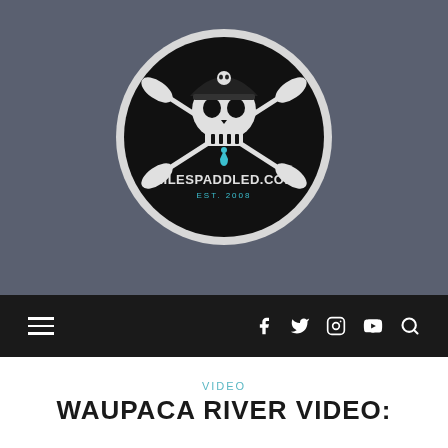[Figure (logo): MilesPaddled.com logo: circular badge with black background, white border. Features a skull wearing a pirate hat with crossed kayak paddles behind it, a cyan water droplet, and text 'MILESPADDLED.COM' with 'EST. 2008' in cyan beneath.]
Navigation bar with hamburger menu icon and social media icons: Facebook, Twitter, Instagram, YouTube, and Search
VIDEO
WAUPACA RIVER VIDEO: